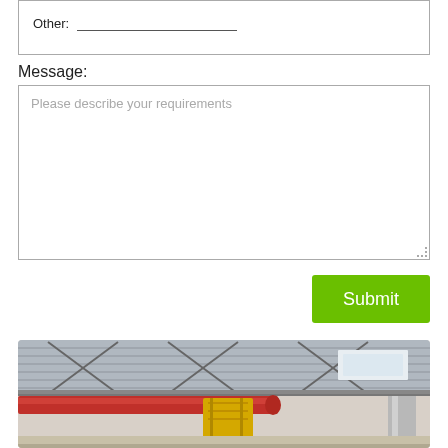Other: ___________________________
Message:
Please describe your requirements
Submit
[Figure (photo): Interior of an industrial factory/warehouse showing overhead crane structure with red beam and yellow walkway/platform, corrugated metal roof with steel trusses and skylights]